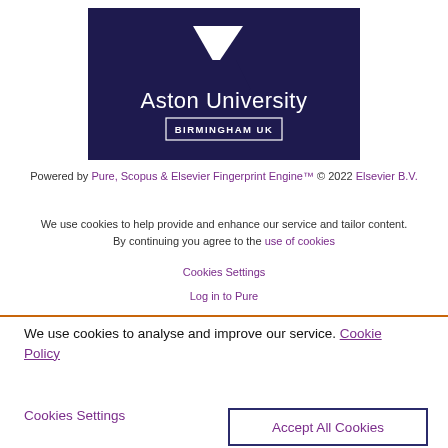[Figure (logo): Aston University Birmingham UK logo — dark navy background with white triangle/arrow shape and white text]
Powered by Pure, Scopus & Elsevier Fingerprint Engine™ © 2022 Elsevier B.V.
We use cookies to help provide and enhance our service and tailor content. By continuing you agree to the use of cookies
Cookies Settings
Log in to Pure
We use cookies to analyse and improve our service. Cookie Policy
Cookies Settings
Accept All Cookies